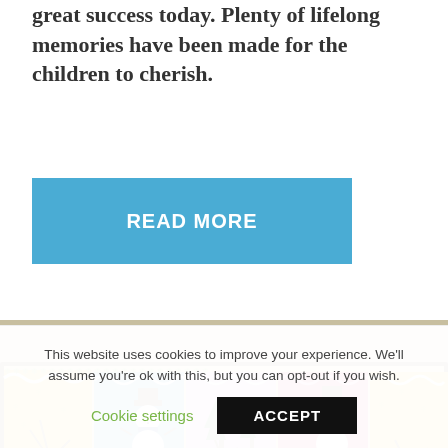great success today. Plenty of lifelong memories have been made for the children to cherish.
READ MORE
[Figure (photo): A classroom bulletin board decorated with colorful children's artwork featuring snowman figures on blue and pink backgrounds, surrounded by yellow and colorful borders with snowflake decorations and winter-themed art.]
This website uses cookies to improve your experience. We'll assume you're ok with this, but you can opt-out if you wish.
Cookie settings
ACCEPT